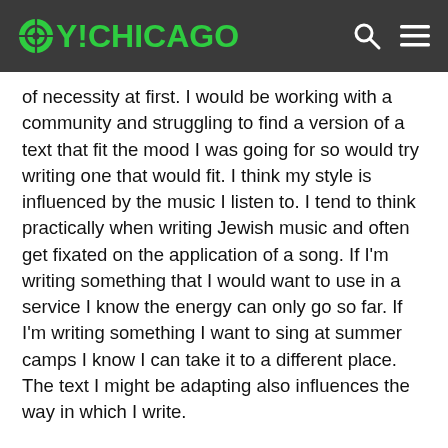OY!CHICAGO
of necessity at first. I would be working with a community and struggling to find a version of a text that fit the mood I was going for so would try writing one that would fit. I think my style is influenced by the music I listen to. I tend to think practically when writing Jewish music and often get fixated on the application of a song. If I'm writing something that I would want to use in a service I know the energy can only go so far. If I'm writing something I want to sing at summer camps I know I can take it to a different place. The text I might be adapting also influences the way in which I write.
2. What do you feelis the role of Jewish pop/rock as a genre in both informal and religioussettings?